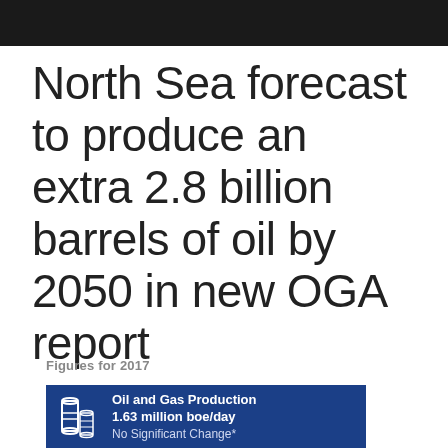North Sea forecast to produce an extra 2.8 billion barrels of oil by 2050 in new OGA report
Figures for 2017
[Figure (infographic): Blue infographic box with barrel icons and text: Oil and Gas Production 1.63 million boe/day, No Significant Change*]